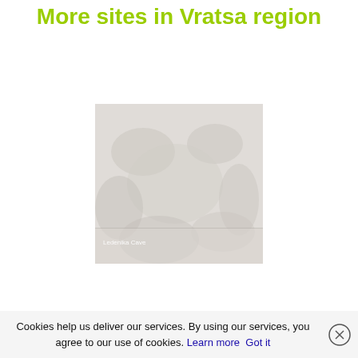More sites in Vratsa region
[Figure (photo): A faded/greyed out photograph of Ledenika Cave showing cave interior with rock formations]
Cookies help us deliver our services. By using our services, you agree to our use of cookies. Learn more Got it